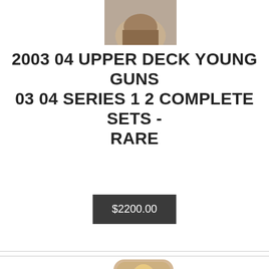[Figure (photo): Partial product image at top, showing a card or item with brownish tones, cropped at top.]
2003 04 UPPER DECK YOUNG GUNS 03 04 SERIES 1 2 COMPLETE SETS - RARE
$2200.00
[Figure (photo): Product image of a makeup brush set in packaging, with multiple brushes with black handles and tan bristles, in a rounded blister pack.]